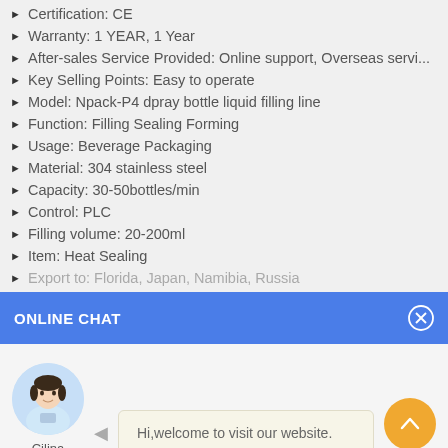Certification: CE
Warranty: 1 YEAR, 1 Year
After-sales Service Provided: Online support, Overseas servi...
Key Selling Points: Easy to operate
Model: Npack-P4 dpray bottle liquid filling line
Function: Filling Sealing Forming
Usage: Beverage Packaging
Material: 304 stainless steel
Capacity: 30-50bottles/min
Control: PLC
Filling volume: 20-200ml
Item: Heat Sealing
Export to: Florida, Japan, Namibia, Russia
ONLINE CHAT
Hi,welcome to visit our website.
Cilina